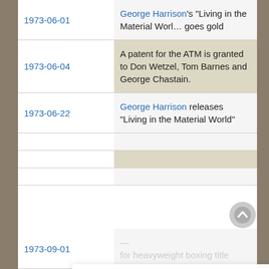1973-06-01 | George Harrison's "Living in the Material World" goes gold
1973-06-04 | A patent for the ATM is granted to Don Wetzel, Tom Barnes and George Chastain.
1973-06-22 | George Harrison releases "Living in the Material World"
We use cookies to understand how you use our site and to improve your experience. This includes personalizing content for you and for the display and tracking of advertising. By continuing to use our site, you accept and agree to our use of cookies.  Privacy Policy
1973-09-01 | ... for heavyweight boxing title